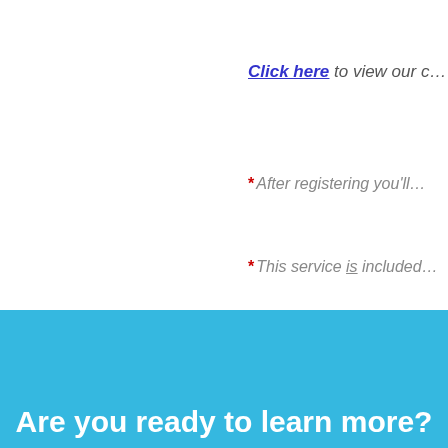Click here to view our c…
* After registering you'll…
* This service is included…
Are you ready to learn more?